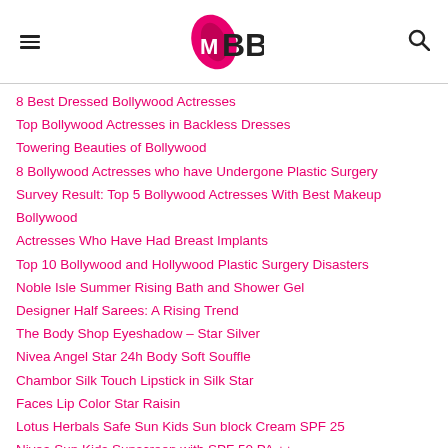IMBB
8 Best Dressed Bollywood Actresses
Top Bollywood Actresses in Backless Dresses
Towering Beauties of Bollywood
8 Bollywood Actresses who have Undergone Plastic Surgery
Survey Result: Top 5 Bollywood Actresses With Best Makeup Bollywood
Actresses Who Have Had Breast Implants
Top 10 Bollywood and Hollywood Plastic Surgery Disasters
Noble Isle Summer Rising Bath and Shower Gel
Designer Half Sarees: A Rising Trend
The Body Shop Eyeshadow – Star Silver
Nivea Angel Star 24h Body Soft Souffle
Chambor Silk Touch Lipstick in Silk Star
Faces Lip Color Star Raisin
Lotus Herbals Safe Sun Kids Sun block Cream SPF 25
Nivea Sun Kids Sunscreen with SPF 50 PA ++
Lush Honey I Washed the Kids & Demon in the Dark Soap
Fabindia Fruit Burst Lotion for Kids in Bubble Gum